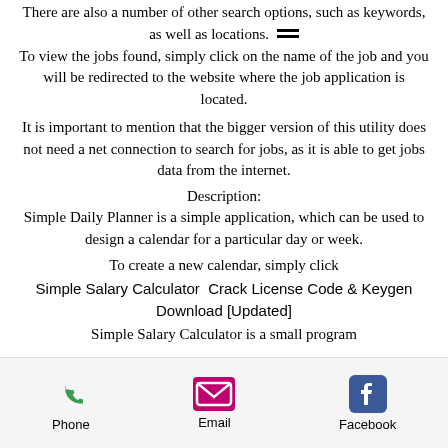There are also a number of other search options, such as keywords, as well as locations. To view the jobs found, simply click on the name of the job and you will be redirected to the website where the job application is located.
It is important to mention that the bigger version of this utility does not need a net connection to search for jobs, as it is able to get jobs data from the internet.
Description:
Simple Daily Planner is a simple application, which can be used to design a calendar for a particular day or week.
To create a new calendar, simply click
Simple Salary Calculator  Crack License Code & Keygen Download [Updated]
Simple Salary Calculator is a small program
[Figure (other): Mobile app footer navigation bar with Phone, Email, and Facebook icons]